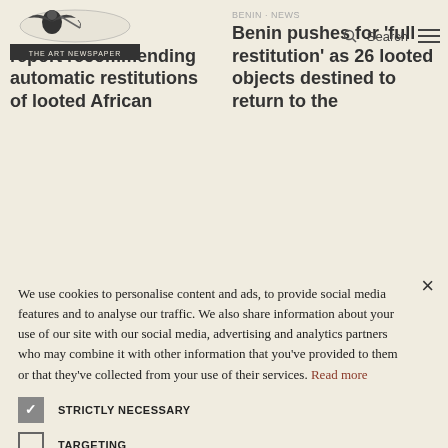[Figure (logo): Newspaper/publication logo with illustrated figure and decorative text banner]
[Figure (infographic): Search icon and hamburger menu icon in top right header]
from report recommending automatic restitutions of looted African
Benin pushes for 'full restitution' as 26 looted objects destined to return to the
We use cookies to personalise content and ads, to provide social media features and to analyse our traffic. We also share information about your use of our site with our social media, advertising and analytics partners who may combine it with other information that you've provided to them or that they've collected from your use of their services. Read more
STRICTLY NECESSARY
TARGETING
UNCLASSIFIED
ACCEPT ALL
DECLINE ALL
SHOW DETAILS